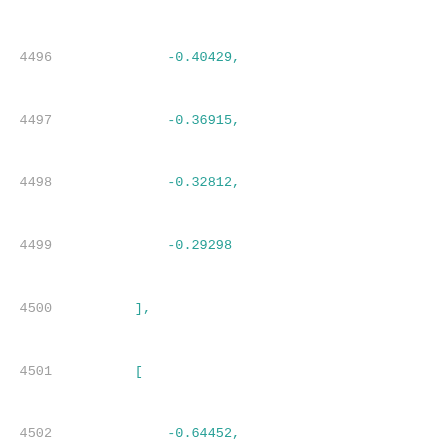4496   -0.40429,
4497   -0.36915,
4498   -0.32812,
4499   -0.29298
4500   ],
4501   [
4502   -0.64452,
4503   -0.63282,
4504   -0.59766,
4505   -0.60938,
4506   -0.57421,
4507   -0.52734,
4508   -0.48632,
4509   -0.44532,
4510   -0.40429,
4511   -0.37501
4512   ],
4513   [
4514   -0.70313,
4515   -0.69141,
4516   -0.67969,